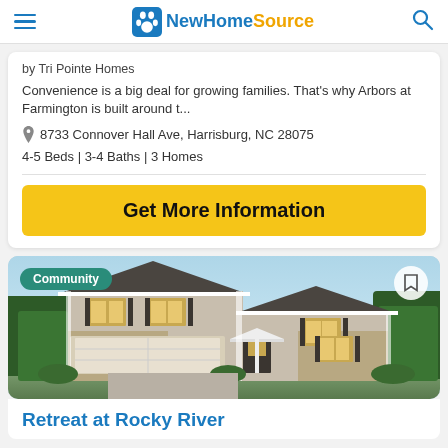NewHomeSource
by Tri Pointe Homes
Convenience is a big deal for growing families. That's why Arbors at Farmington is built around t...
8733 Connover Hall Ave, Harrisburg, NC 28075
4-5 Beds | 3-4 Baths | 3 Homes
Get More Information
[Figure (photo): Exterior photo of a two-story suburban home with gray siding, brick facade, two-car garage, and landscaping. A 'Community' badge is shown in the top-left and a bookmark button in the top-right.]
Retreat at Rocky River